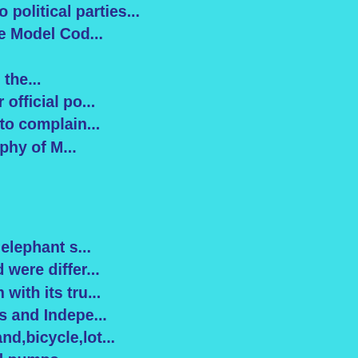undue advantage or disadvantage to political parties...But the basic philosophy of the Model Code... all the political parties, in the... in the States, did not use their official po... in a manner which might lead to complain... voters. "This basic philosophy of M...
BSP's contention is that the elephant s... posture with trunks raised and were differ... wherein the elephant was seen with its tru... not acceptable. Political parties and Indepe... allotment of the the following Hand,bicycle,lot... fans,TV sets, lanterns, hand pumps,... and stars symbols in different postures i... to other parties. CEC may have to allot... mentioned different posture...
[Figure (illustration): An illustration on dark red/maroon background showing papers/documents with horizontal lines, partially visible figure]